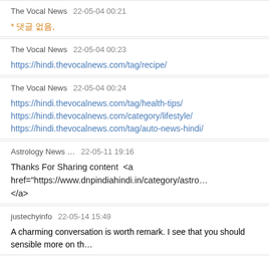The Vocal News   22-05-04 00:21
* 댓글 없음,
The Vocal News   22-05-04 00:23
https://hindi.thevocalnews.com/tag/recipe/
The Vocal News   22-05-04 00:24
https://hindi.thevocalnews.com/tag/health-tips/
https://hindi.thevocalnews.com/category/lifestyle/
https://hindi.thevocalnews.com/tag/auto-news-hindi/
Astrology News …   22-05-11 19:16
Thanks For Sharing content  <a href="https://www.dnpindiahindi.in/category/astro…"></a>
justechyinfo   22-05-14 15:49
A charming conversation is worth remark. I see that you should sensible more on th…